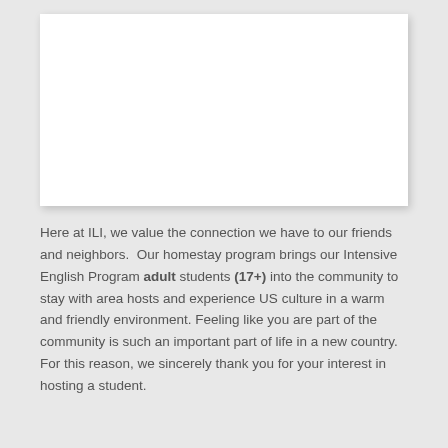[Figure (photo): White blank image area representing a photo placeholder with drop shadow]
Here at ILI, we value the connection we have to our friends and neighbors.  Our homestay program brings our Intensive English Program adult students (17+) into the community to stay with area hosts and experience US culture in a warm and friendly environment. Feeling like you are part of the community is such an important part of life in a new country. For this reason, we sincerely thank you for your interest in hosting a student.